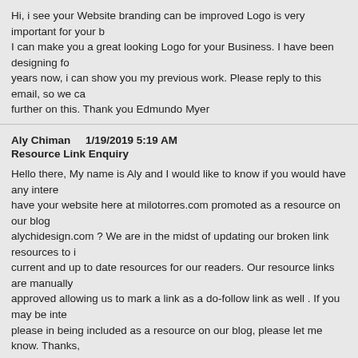Hi, i see your Website branding can be improved Logo is very important for your I can make you a great looking Logo for your Business. I have been designing fo years now, i can show you my previous work. Please reply to this email, so we ca further on this. Thank you Edmundo Myer
Aly Chiman    1/19/2019 5:19 AM
Resource Link Enquiry
Hello there, My name is Aly and I would like to know if you would have any intere have your website here at milotorres.com promoted as a resource on our blog alychidesign.com ? We are in the midst of updating our broken link resources to current and up to date resources for our readers. Our resource links are manually approved allowing us to mark a link as a do-follow link as well . If you may be inte please in being included as a resource on our blog, please let me know. Thanks,
Mahalia Yuille    7/28/2018 12:13 AM
Thank You
Hey there Buy Oakley Sunglasses 19.95 dollars only today at https://www.okshop.online The Best, milotorres.com Feedback